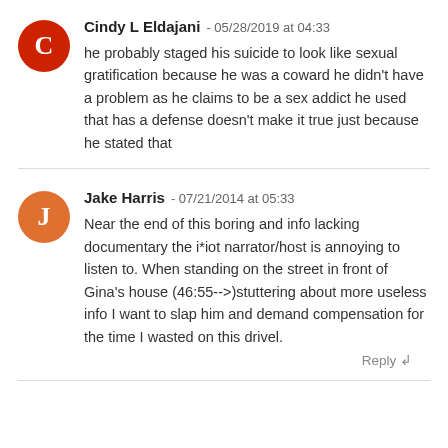Cindy L Eldajani - 05/28/2019 at 04:33
he probably staged his suicide to look like sexual gratification because he was a coward he didn't have a problem as he claims to be a sex addict he used that has a defense doesn't make it true just because he stated that
Jake Harris - 07/21/2014 at 05:33
Near the end of this boring and info lacking documentary the i*iot narrator/host is annoying to listen to. When standing on the street in front of Gina's house (46:55-->)stuttering about more useless info I want to slap him and demand compensation for the time I wasted on this drivel.
Reply